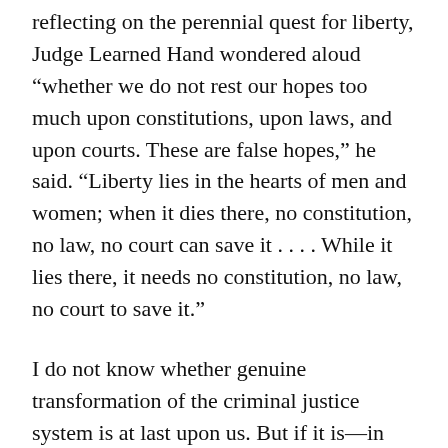reflecting on the perennial quest for liberty, Judge Learned Hand wondered aloud “whether we do not rest our hopes too much upon constitutions, upon laws, and upon courts. These are false hopes,” he said. “Liberty lies in the hearts of men and women; when it dies there, no constitution, no law, no court can save it . . . . While it lies there, it needs no constitution, no law, no court to save it.”
I do not know whether genuine transformation of the criminal justice system is at last upon us. But if it is—in particular, if we finally embrace dignity as humanity’s irreducible core—the written law will follow, of that I am certain. Yet if we still have not come to this place—if instead of transformation we